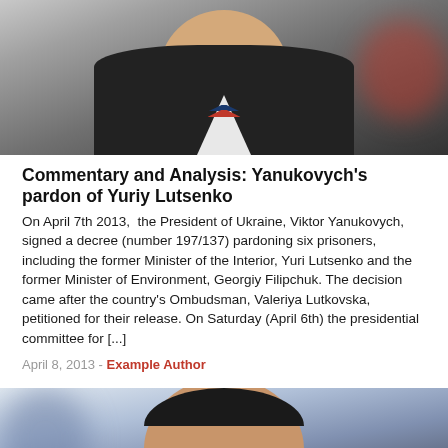[Figure (photo): Portrait photo of a man in a black jacket with a white, red and blue striped v-neck shirt, with a blurred red background element on the right.]
Commentary and Analysis: Yanukovych's pardon of Yuriy Lutsenko
On April 7th 2013, the President of Ukraine, Viktor Yanukovych, signed a decree (number 197/137) pardoning six prisoners, including the former Minister of the Interior, Yuri Lutsenko and the former Minister of Environment, Georgiy Filipchuk. The decision came after the country's Ombudsman, Valeriya Lutkovska, petitioned for their release. On Saturday (April 6th) the presidential committee for [...]
April 8, 2013 - Example Author
[Figure (photo): Cropped portrait photo of a man's forehead and upper face with dark hair, with a blue blurred background.]